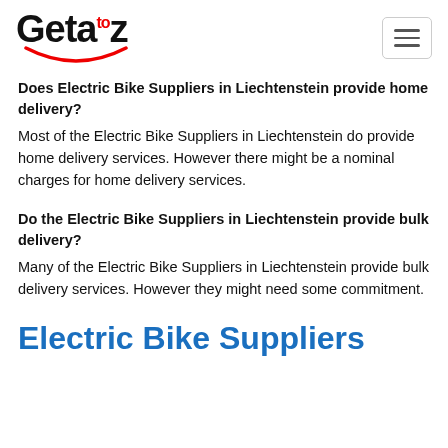Geta to z
Does Electric Bike Suppliers in Liechtenstein provide home delivery?
Most of the Electric Bike Suppliers in Liechtenstein do provide home delivery services. However there might be a nominal charges for home delivery services.
Do the Electric Bike Suppliers in Liechtenstein provide bulk delivery?
Many of the Electric Bike Suppliers in Liechtenstein provide bulk delivery services. However they might need some commitment.
Electric Bike Suppliers